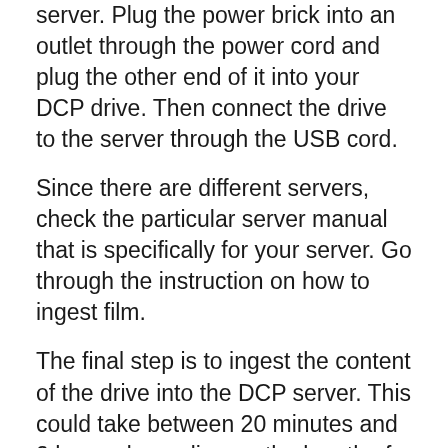server. Plug the power brick into an outlet through the power cord and plug the other end of it into your DCP drive. Then connect the drive to the server through the USB cord.
Since there are different servers, check the particular server manual that is specifically for your server. Go through the instruction on how to ingest film.
The final step is to ingest the content of the drive into the DCP server. This could take between 20 minutes and 2 hours depending on the length of the show. There is a little precaution here. It is advisable to do other things and come back later but you should be coming back to check if there is any problem every 20 minutes.
You don't want to come back after 2 hours to